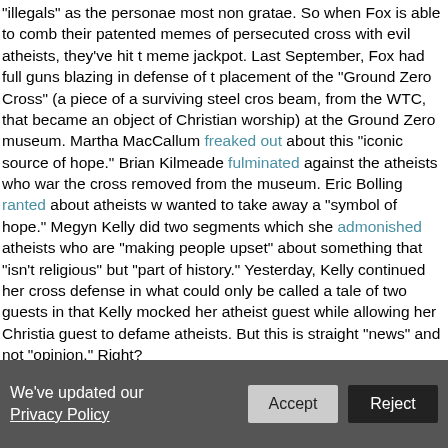"illegals" as the personae most non gratae. So when Fox is able to combine their patented memes of persecuted cross with evil atheists, they've hit the meme jackpot. Last September, Fox had full guns blazing in defense of the placement of the "Ground Zero Cross" (a piece of a surviving steel cross beam, from the WTC, that became an object of Christian worship) at the Ground Zero museum. Martha MacCallum freaked out about this "iconic source of hope." Brian Kilmeade fulminated against the atheists who wanted the cross removed from the museum. Eric Bolling ranted about atheists who wanted to take away a "symbol of hope." Megyn Kelly did two segments in which she admonished atheists who are "making people upset" about something that "isn't religious" but "part of history." Yesterday, Kelly continued her cross defense in what could only be called a tale of two guests in that Kelly mocked her atheist guest while allowing her Christian guest to defame atheists. But this is straight "news" and not "opinion." Right?
Read more
We've updated our Privacy Policy